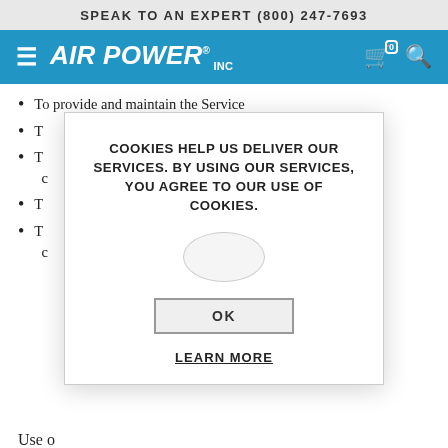SPEAK TO AN EXPERT (800) 247-7693
[Figure (logo): Air Power Inc logo with hamburger menu, cart icon with badge 0, and search icon on blue navigation bar]
To provide and maintain the Service
T[obscured by overlay]
T[obscured by overlay - mentions 's of c']
T[obscured by overlay]
T[obscured by overlay - mentions 'at we c']
[Figure (screenshot): Cookie consent popup overlay: 'COOKIES HELP US DELIVER OUR SERVICES. BY USING OUR SERVICES, YOU AGREE TO OUR USE OF COOKIES.' with OK button and LEARN MORE link]
Use o[bscured]
Air Power Inc uses the collected data for various purposes:
To monitor the usage of the Service
To detect, prevent and address technical issues
To comply with a legal obligation
T[obscured/cut off]